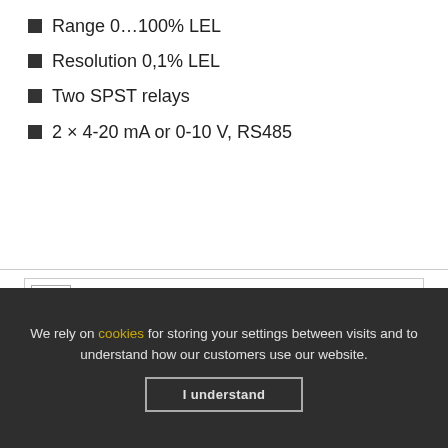Range 0…100% LEL
Resolution 0,1% LEL
Two SPST relays
2 × 4-20 mA or 0-10 V, RS485
[Figure (photo): A gray rectangular industrial gas detector device with black cable connections, shown with a zoom magnifier button in the top-left corner of the image box.]
We rely on cookies for storing your settings between visits and to understand how our customers use our website.
I understand